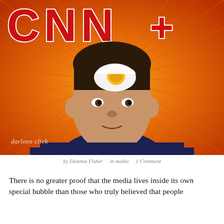[Figure (illustration): Satirical photomontage showing a man's face with a fried egg on his forehead, set against a CNN+ logo background with a radial orange/red burst pattern. Watermark 'darleen click' in lower left.]
by Deanna Fisher    in media    1 Comment
There is no greater proof that the media lives inside its own special bubble than those who truly believed that people